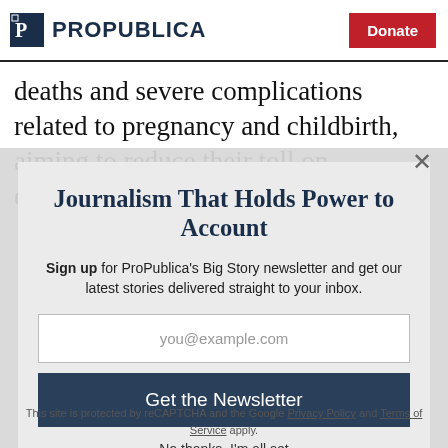ProPublica | Donate
deaths and severe complications related to pregnancy and childbirth, aiming to reduce their toll on expectant
Journalism That Holds Power to Account
Sign up for ProPublica's Big Story newsletter and get our latest stories delivered straight to your inbox.
you@example.com
Get the Newsletter
No thanks, I'm all set
This site is protected by reCAPTCHA and the Google Privacy Policy and Terms of Service apply.